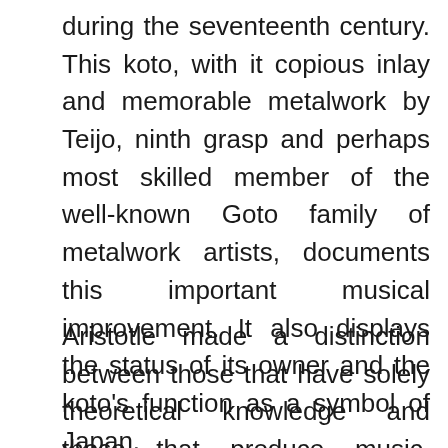during the seventeenth century. This koto, with it copious inlay and memorable metalwork by Teijo, ninth grasp and perhaps most skilled member of the well-known Goto family of metalwork artists, documents this important musical improvement. It also displays the status of its owner and the koto's function as a symbol of Japan.
Aristotle made a distinction between those that have solely theoretical knowledge and those that produce music, sustaining that individuals who don't carry out can't be good